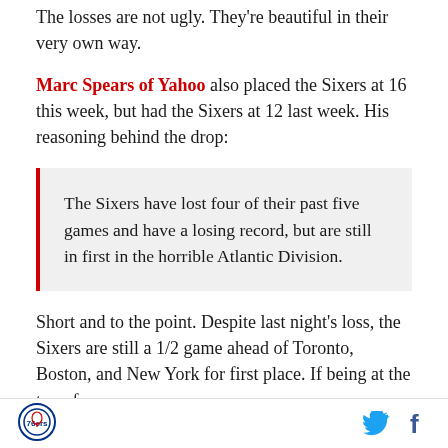The losses are not ugly. They're beautiful in their very own way.
Marc Spears of Yahoo also placed the Sixers at 16 this week, but had the Sixers at 12 last week. His reasoning behind the drop:
The Sixers have lost four of their past five games and have a losing record, but are still in first in the horrible Atlantic Division.
Short and to the point. Despite last night's loss, the Sixers are still a 1/2 game ahead of Toronto, Boston, and New York for first place. If being at the top of a